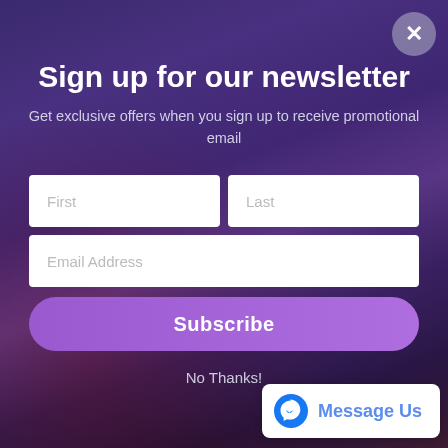Sign up for our newsletter
Get exclusive offers when you sign up to receive promotional email
First
Last
Email Address
Subscribe
No Thanks!
Message Us